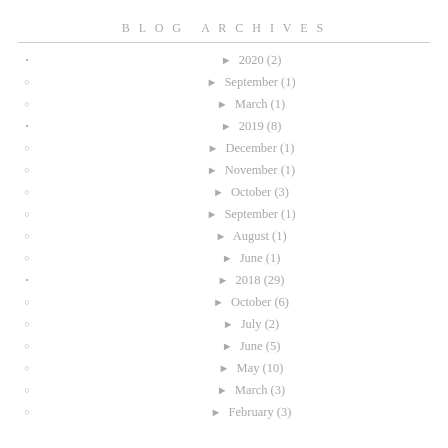BLOG ARCHIVES
► 2020 (2)
► September (1)
► March (1)
► 2019 (8)
► December (1)
► November (1)
► October (3)
► September (1)
► August (1)
► June (1)
► 2018 (29)
► October (6)
► July (2)
► June (5)
► May (10)
► March (3)
► February (3)